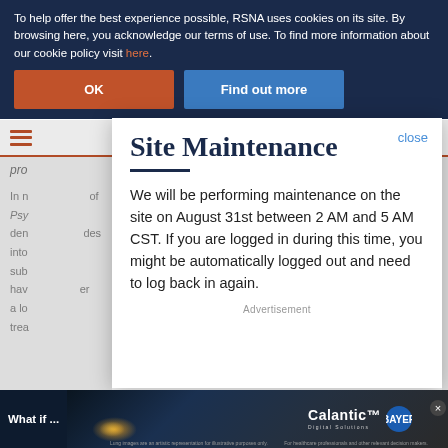To help offer the best experience possible, RSNA uses cookies on its site. By browsing here, you acknowledge our terms of use. To find more information about our cookie policy visit here.
OK
Find out more
close
Site Maintenance
We will be performing maintenance on the site on August 31st between 2 AM and 5 AM CST. If you are logged in during this time, you might be automatically logged out and need to log back in again.
Advertisement
What if ...
[Figure (other): Calantic Digital Solutions advertisement banner with Bayer logo, showing medical imaging]